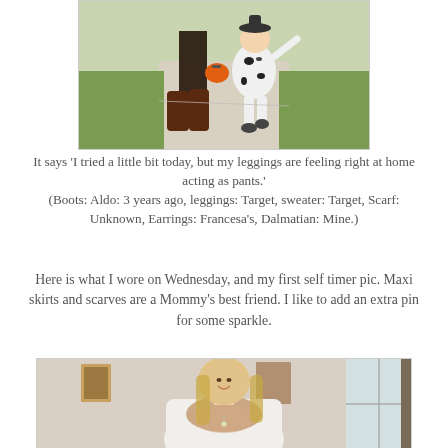[Figure (photo): A child in a dalmatian costume walking on a sidewalk next to an adult with brown boots, holding a pumpkin bucket.]
It says 'I tried a little bit today, but my leggings are feeling right at home acting as pants.' (Boots: Aldo: 3 years ago, leggings: Target, sweater: Target, Scarf: Unknown, Earrings: Francesa's, Dalmatian: Mine.)
Here is what I wore on Wednesday, and my first self timer pic. Maxi skirts and scarves are a Mommy's best friend. I like to add an extra pin for some sparkle.
[Figure (photo): A smiling woman with long blonde hair wearing a white top and a patterned infinity scarf, standing indoors.]